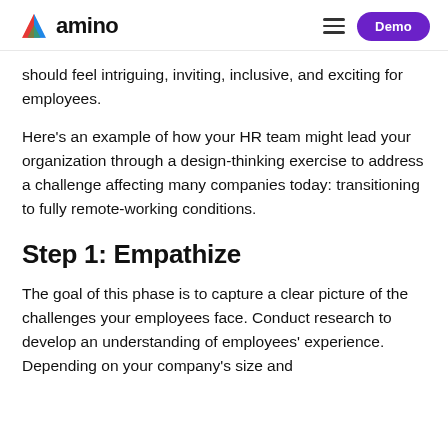amino — Demo
should feel intriguing, inviting, inclusive, and exciting for employees.
Here's an example of how your HR team might lead your organization through a design-thinking exercise to address a challenge affecting many companies today: transitioning to fully remote-working conditions.
Step 1: Empathize
The goal of this phase is to capture a clear picture of the challenges your employees face. Conduct research to develop an understanding of employees' experience. Depending on your company's size and